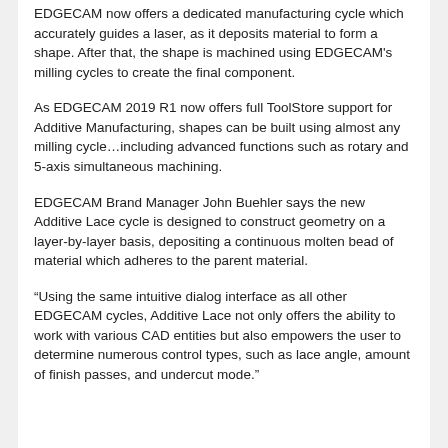EDGECAM now offers a dedicated manufacturing cycle which accurately guides a laser, as it deposits material to form a shape. After that, the shape is machined using EDGECAM's milling cycles to create the final component.
As EDGECAM 2019 R1 now offers full ToolStore support for Additive Manufacturing, shapes can be built using almost any milling cycle…including advanced functions such as rotary and 5-axis simultaneous machining.
EDGECAM Brand Manager John Buehler says the new Additive Lace cycle is designed to construct geometry on a layer-by-layer basis, depositing a continuous molten bead of material which adheres to the parent material.
“Using the same intuitive dialog interface as all other EDGECAM cycles, Additive Lace not only offers the ability to work with various CAD entities but also empowers the user to determine numerous control types, such as lace angle, amount of finish passes, and undercut mode.”